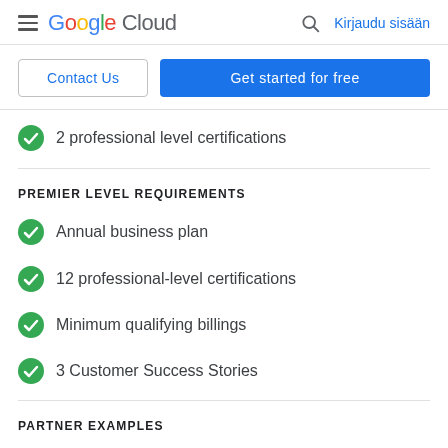Google Cloud — Kirjaudu sisään
Contact Us | Get started for free
2 professional level certifications
PREMIER LEVEL REQUIREMENTS
Annual business plan
12 professional-level certifications
Minimum qualifying billings
3 Customer Success Stories
PARTNER EXAMPLES